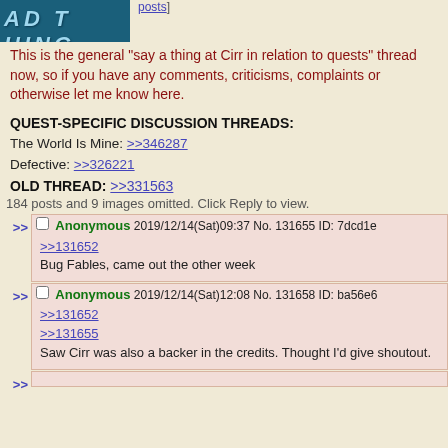[Figure (illustration): Banner image with stylized letter art on dark teal/blue background spelling 'AD T HING']
posts]
This is the general "say a thing at Cirr in relation to quests" thread now, so if you have any comments, criticisms, complaints or otherwise let me know here.
QUEST-SPECIFIC DISCUSSION THREADS:
The World Is Mine: >>346287
Defective: >>326221
OLD THREAD: >>331563
184 posts and 9 images omitted. Click Reply to view.
Anonymous 2019/12/14(Sat)09:37 No. 131655 ID: 7dcd1e
>>131652
Bug Fables, came out the other week
Anonymous 2019/12/14(Sat)12:08 No. 131658 ID: ba56e6
>>131652
>>131655
Saw Cirr was also a backer in the credits. Thought I'd give shoutout.